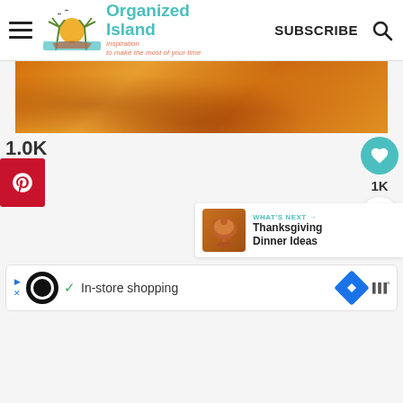Organized Island — Inspiration to make the most of your time | SUBSCRIBE
[Figure (photo): Orange/amber textured background image, cropped hero photo]
1.0K
SHARES
[Figure (infographic): Pinterest share button (red), heart/like button (teal, 1K count), share button (white circle)]
[Figure (infographic): What's Next panel with thumbnail of Thanksgiving turkey and text: WHAT'S NEXT → Thanksgiving Dinner Ideas]
[Figure (infographic): Advertisement bar: In-store shopping with Google-style icons and brand logos]